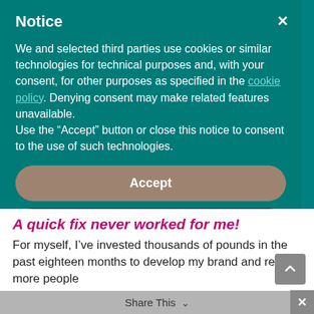Notice
We and selected third parties use cookies or similar technologies for technical purposes and, with your consent, for other purposes as specified in the cookie policy. Denying consent may make related features unavailable.
Use the “Accept” button or close this notice to consent to the use of such technologies.
Accept
Learn more and customize
A quick fix never worked for me!
For myself, I’ve invested thousands of pounds in the past eighteen months to develop my brand and reach more people
Share This